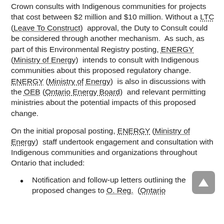Crown consults with Indigenous communities for projects that cost between $2 million and $10 million. Without a LTC (Leave To Construct) approval, the Duty to Consult could be considered through another mechanism. As such, as part of this Environmental Registry posting, ENERGY (Ministry of Energy) intends to consult with Indigenous communities about this proposed regulatory change. ENERGY (Ministry of Energy) is also in discussions with the OEB (Ontario Energy Board) and relevant permitting ministries about the potential impacts of this proposed change.
On the initial proposal posting, ENERGY (Ministry of Energy) staff undertook engagement and consultation with Indigenous communities and organizations throughout Ontario that included:
Notification and follow-up letters outlining the proposed changes to O. Reg. (Ontario